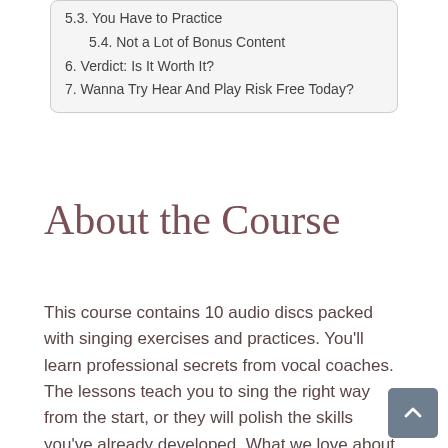5.3. You Have to Practice
5.4. Not a Lot of Bonus Content
6. Verdict: Is It Worth It?
7. Wanna Try Hear And Play Risk Free Today?
About the Course
This course contains 10 audio discs packed with singing exercises and practices. You’ll learn professional secrets from vocal coaches. The lessons teach you to sing the right way from the start, or they will polish the skills you’ve already developed. What we love about this course is that it goes beyond singing in the correct key. You get: